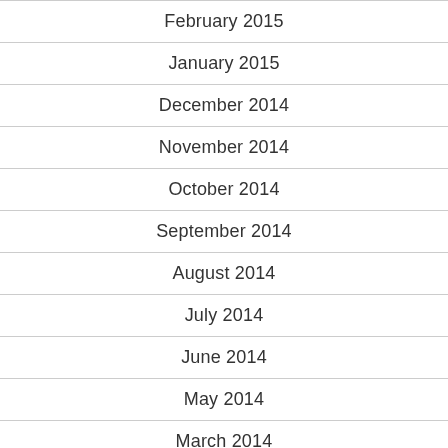February 2015
January 2015
December 2014
November 2014
October 2014
September 2014
August 2014
July 2014
June 2014
May 2014
March 2014
February 2014